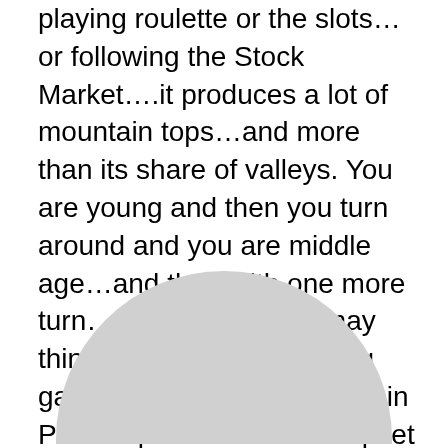playing roulette or the slots…or following the Stock Market….it produces a lot of mountain tops…and more than its share of valleys. You are young and then you turn around and you are middle age…and then with one more turn…you are old. You may think as the African parking garage attendant asked me in Philadelphia when I was upset with his request that I leave my car window down, 'What you crying about Mon?'
[Figure (illustration): A large light gray circle, partially visible at the bottom of the page, cropped at the bottom edge.]